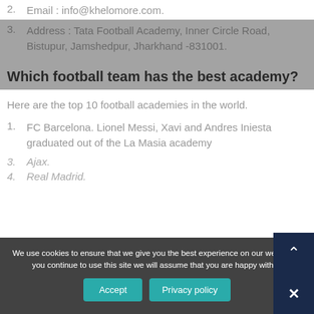2. Email : info@khelomore.com.
3. Address : Tata Football Academy, Inner Circle Road, Bistupur, Jamshedpur, Jharkhand -831001.
Which football team has the best academy?
Here are the top 10 football academies in the world.
1. FC Barcelona. Lionel Messi, Xavi and Andres Iniesta graduated out of the La Masia academy
3. Ajax.
4. Real Madrid.
We use cookies to ensure that we give you the best experience on our website. If you continue to use this site we will assume that you are happy with it.